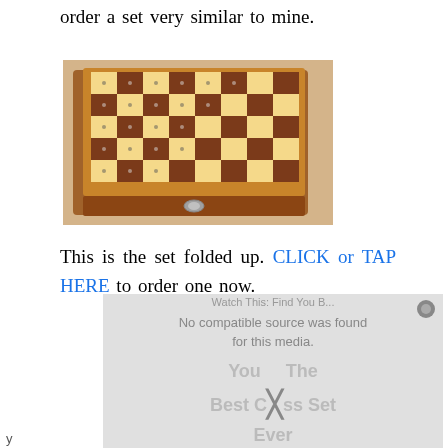order a set very similar to mine.
[Figure (photo): A wooden chess set folded up, showing the checkered board pattern with alternating dark walnut and light maple squares, each with small pegs/holes for pieces, viewed from above at a slight angle on a light wood table surface.]
This is the set folded up. CLICK or TAP HERE to order one now.
[Figure (other): Video player overlay showing 'No compatible source was found for this media.' error message, with overlapping text 'You The Best Chess Set Ever' in light gray, and a close button in the top right corner.]